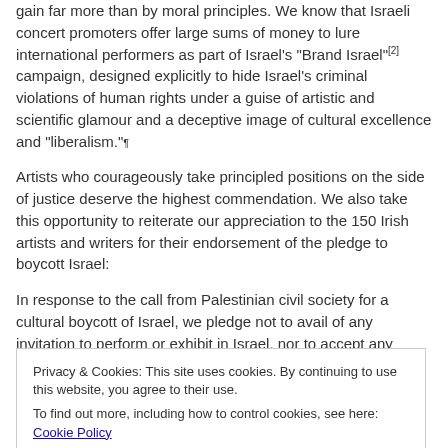gain far more than by moral principles. We know that Israeli concert promoters offer large sums of money to lure international performers as part of Israel"s "Brand Israel"[2] campaign, designed explicitly to hide Israel"s criminal violations of human rights under a guise of artistic and scientific glamour and a deceptive image of cultural excellence and "liberalism."
Artists who courageously take principled positions on the side of justice deserve the highest commendation. We also take this opportunity to reiterate our appreciation to the 150 Irish artists and writers for their endorsement of the pledge to boycott Israel:
In response to the call from Palestinian civil society for a cultural boycott of Israel, we pledge not to avail of any invitation to perform or exhibit in Israel, nor to accept any funding from any institution
Privacy & Cookies: This site uses cookies. By continuing to use this website, you agree to their use.
To find out more, including how to control cookies, see here: Cookie Policy
Close and accept
dance group as well as the brave Irish artists and writers. In